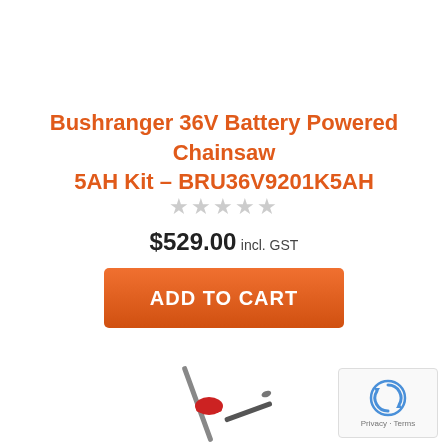Bushranger 36V Battery Powered Chainsaw 5AH Kit – BRU36V9201K5AH
★★★★★
$529.00 incl. GST
ADD TO CART
[Figure (photo): Product image of a Bushranger chainsaw/pole saw tool, partially visible at the bottom of the page]
[Figure (logo): reCAPTCHA badge with Google reCAPTCHA icon and 'Privacy - Terms' text in bottom right corner]